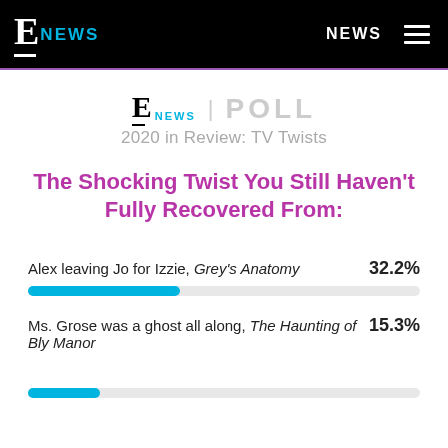E NEWS | NEWS
[Figure (infographic): E! News | Poll logo with subtitle '2020 in Review: TV Twists']
The Shocking Twist You Still Haven't Fully Recovered From:
Alex leaving Jo for Izzie, Grey's Anatomy  32.2%
[Figure (bar-chart): TV Twists Poll]
Ms. Grose was a ghost all along, The Haunting of Bly Manor  15.3%
[Figure (bar-chart): TV Twists Poll]